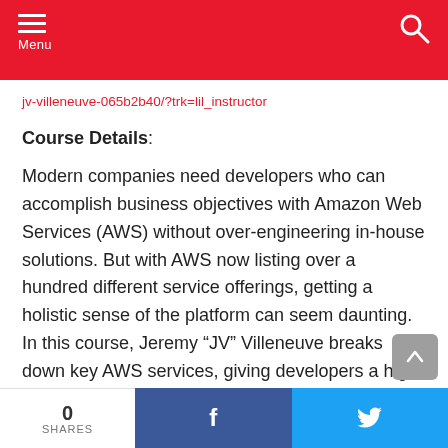Menu
jv-villeneuve-065b2b40/?trk=lil_instructor
Course Details:
Modern companies need developers who can accomplish business objectives with Amazon Web Services (AWS) without over-engineering in-house solutions. But with AWS now listing over a hundred different service offerings, getting a holistic sense of the platform can seem daunting. In this course, Jeremy “JV” Villeneuve breaks down key AWS services, giving developers a high-level look at the
0 SHARES  f  🐦